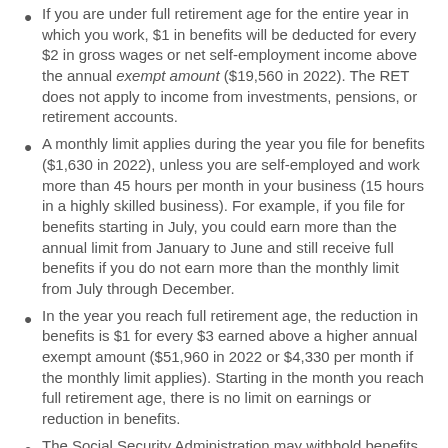If you are under full retirement age for the entire year in which you work, $1 in benefits will be deducted for every $2 in gross wages or net self-employment income above the annual exempt amount ($19,560 in 2022). The RET does not apply to income from investments, pensions, or retirement accounts.
A monthly limit applies during the year you file for benefits ($1,630 in 2022), unless you are self-employed and work more than 45 hours per month in your business (15 hours in a highly skilled business). For example, if you file for benefits starting in July, you could earn more than the annual limit from January to June and still receive full benefits if you do not earn more than the monthly limit from July through December.
In the year you reach full retirement age, the reduction in benefits is $1 for every $3 earned above a higher annual exempt amount ($51,960 in 2022 or $4,330 per month if the monthly limit applies). Starting in the month you reach full retirement age, there is no limit on earnings or reduction in benefits.
The Social Security Administration may withhold benefits as soon as it determines